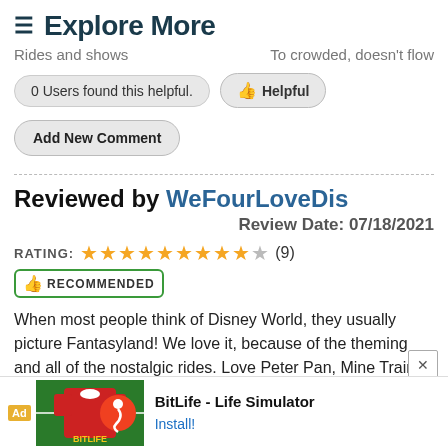≡ Explore More
Rides and shows   To crowded, doesn't flow
0 Users found this helpful.   👍 Helpful
Add New Comment
Reviewed by WeFourLoveDis
Review Date: 07/18/2021
RATING: ★★★★★★★★★☆ (9)
👍 RECOMMENDED
When most people think of Disney World, they usually picture Fantasyland! We love it, because of the theming and all of the nostalgic rides. Love Peter Pan, Mine Train, and Teacups! It can get very crowded during high peak times
[Figure (screenshot): Advertisement banner for BitLife - Life Simulator app with logo and Install button]